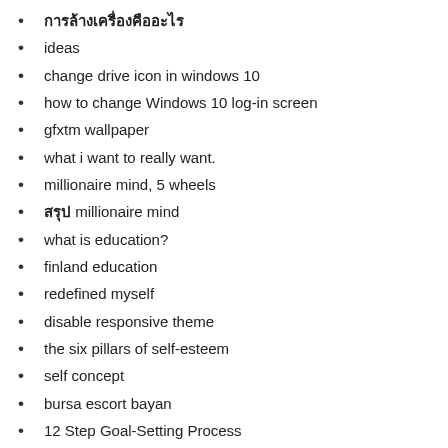การล้างเครื่องคืออะไร
ideas
change drive icon in windows 10
how to change Windows 10 log-in screen
gfxtm wallpaper
what i want to really want.
millionaire mind, 5 wheels
สรุป millionaire mind
what is education?
finland education
redefined myself
disable responsive theme
the six pillars of self-esteem
self concept
bursa escort bayan
12 Step Goal-Setting Process
name card 2015
what is the meaning of life.